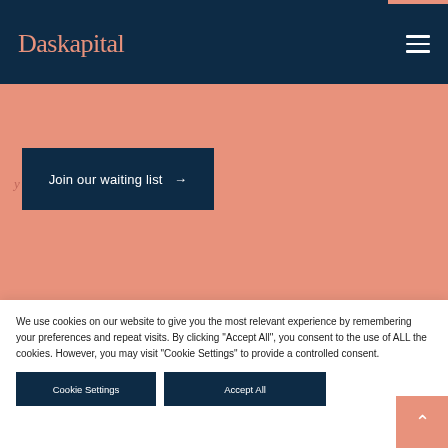Daskapital
Join our waiting list →
Let's talk...
We use cookies on our website to give you the most relevant experience by remembering your preferences and repeat visits. By clicking "Accept All", you consent to the use of ALL the cookies. However, you may visit "Cookie Settings" to provide a controlled consent.
Cookie Settings
Accept All